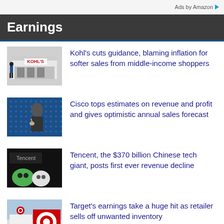Ads by Amazon
Earnings
[Figure (photo): Kohl's store exterior with person walking by]
Kohl's cuts guidance, blaming inflation for softer sales from middle-income shoppers
[Figure (photo): Cisco executive speaking at event with blue dot background]
Cisco tops estimates on revenue and profit and gives optimistic annual sales forecast
[Figure (photo): Tencent logo sign with WeChat mascot figures]
Tencent, the $370 billion Chinese tech giant, posts first ever revenue decline
[Figure (photo): Target store exterior with Target logo signs]
Target's earnings take a huge hit as retailer sells off unwanted inventory